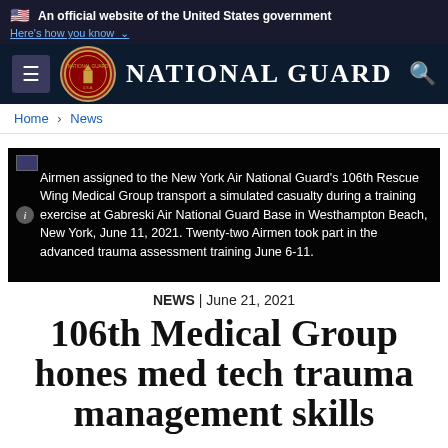An official website of the United States government
Here's how you know ▾
NATIONAL GUARD
Home › News
[Figure (photo): Airmen assigned to the New York Air National Guard's 106th Rescue Wing Medical Group transport a simulated casualty during a training exercise at Gabreski Air National Guard Base in Westhampton Beach, New York, June 11, 2021. Twenty-two Airmen took part in the advanced trauma assessment training June 6-11.]
NEWS | June 21, 2021
106th Medical Group hones med tech trauma management skills